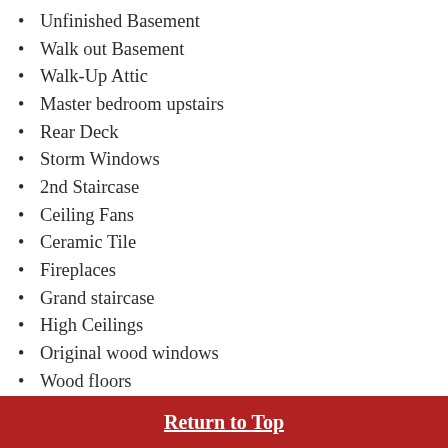Unfinished Basement
Walk out Basement
Walk-Up Attic
Master bedroom upstairs
Rear Deck
Storm Windows
2nd Staircase
Ceiling Fans
Ceramic Tile
Fireplaces
Grand staircase
High Ceilings
Original wood windows
Wood floors
Shingle Roof
City sewer
City water supply
Dishwasher
Disposal
Return to Top